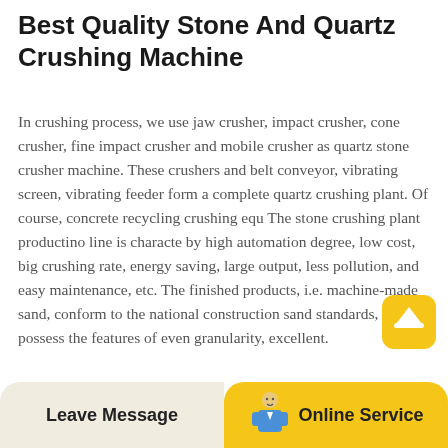Best Quality Stone And Quartz Crushing Machine
In crushing process, we use jaw crusher, impact crusher, cone crusher, fine impact crusher and mobile crusher as quartz stone crusher machine. These crushers and belt conveyor, vibrating screen, vibrating feeder form a complete quartz crushing plant. Of course, concrete recycling crushing equ The stone crushing plant productino line is characterized by high automation degree, low cost, big crushing rate, energy saving, large output, less pollution, and easy maintenance, etc. The finished products, i.e. machine-made sand, conform to the national construction sand standards, and possess the features of even granularity, excellent.
[Figure (illustration): Scroll-to-top button: yellow rounded square with a white upward-pointing hat/chevron icon]
Leave Message   Online Service